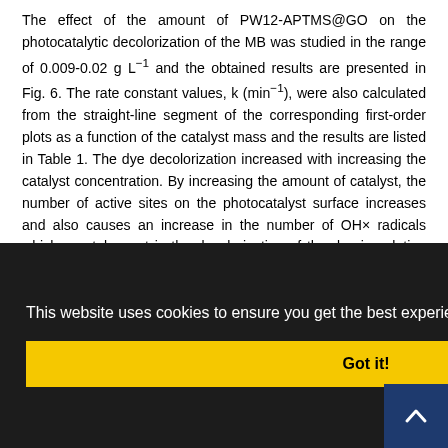The effect of the amount of PW12-APTMS@GO on the photocatalytic decolorization of the MB was studied in the range of 0.009-0.02 g L−1 and the obtained results are presented in Fig. 6. The rate constant values, k (min−1), were also calculated from the straight-line segment of the corresponding first-order plots as a function of the catalyst mass and the results are listed in Table 1. The dye decolorization increased with increasing the catalyst concentration. By increasing the amount of catalyst, the number of active sites on the photocatalyst surface increases and also causes an increase in the number of OH× radicals which can take part in the decolorization of the dye in solution [33,34]. It was found that the decolorization rate decreases with further increase in the catalyst concentration because of the [obscured by cookie banner content] ...us, it can be ...lyst may not ...on and the ...t scattering ...al rates of ...e weight... ...of PW... APTMS@GO (0.010 g L−1) and further increasing ha...
This website uses cookies to ensure you get the best experience on our website.
Got it!